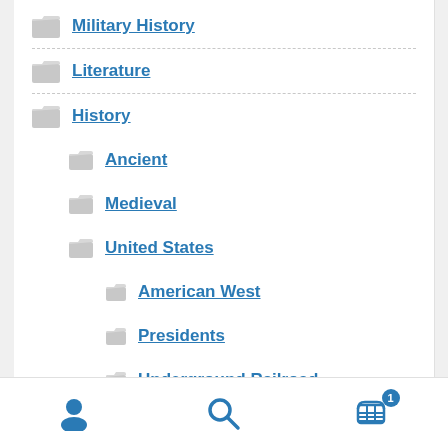Military History
Literature
History
Ancient
Medieval
United States
American West
Presidents
Underground Railroad
World
User icon, Search icon, Cart icon with badge 1